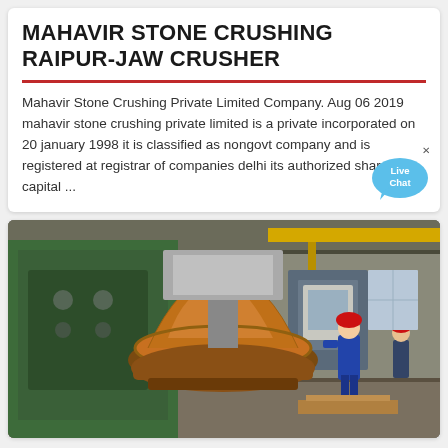MAHAVIR STONE CRUSHING RAIPUR-JAW CRUSHER
Mahavir Stone Crushing Private Limited Company. Aug 06 2019 mahavir stone crushing private limited is a private incorporated on 20 january 1998 it is classified as nongovt company and is registered at registrar of companies delhi its authorized share capital ...
[Figure (photo): Industrial factory scene showing a large jaw crusher component (orange/brown colored conical part) being processed on heavy machinery. A worker in red hard hat and blue uniform is visible on the right, working near the equipment. Green painted heavy machinery and overhead cranes visible in the background.]